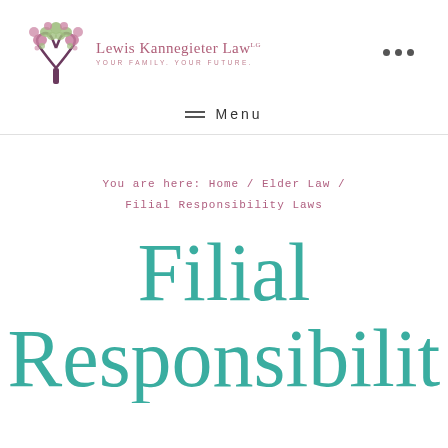[Figure (logo): Lewis Kannegieter Law logo with decorative tree illustration on the left and firm name text on the right. Tagline: YOUR FAMILY. YOUR FUTURE.]
Menu
You are here: Home / Elder Law / Filial Responsibility Laws
Filial Responsibility Laws